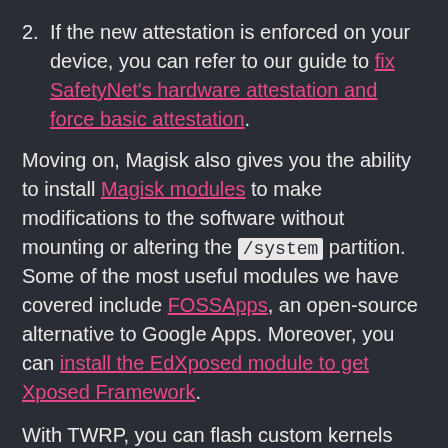2. If the new attestation is enforced on your device, you can refer to our guide to fix SafetyNet's hardware attestation and force basic attestation.
Moving on, Magisk also gives you the ability to install Magisk modules to make modifications to the software without mounting or altering the /system partition. Some of the most useful modules we have covered include FOSSApps, an open-source alternative to Google Apps. Moreover, you can install the EdXposed module to get Xposed Framework.
With TWRP, you can flash custom kernels and custom ROMs like LineageOS 18.1 and OmniROM (among others) should you feel like trying them. For